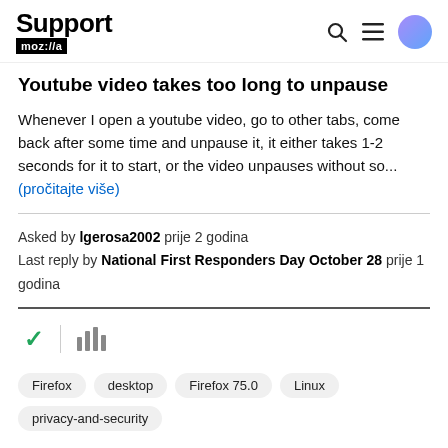Support mozilla
Youtube video takes too long to unpause
Whenever I open a youtube video, go to other tabs, come back after some time and unpause it, it either takes 1-2 seconds for it to start, or the video unpauses without so... (pročitajte više)
Asked by lgerosa2002 prije 2 godina
Last reply by National First Responders Day October 28 prije 1 godina
[Figure (infographic): Checkmark icon and bar chart icon representing solved/archived status]
Firefox
desktop
Firefox 75.0
Linux
privacy-and-security